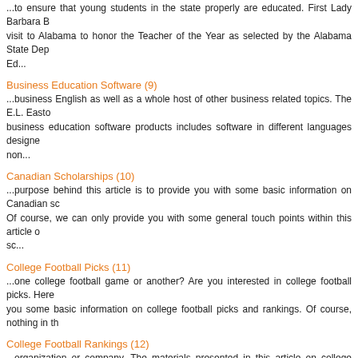...to ensure that young students in the state properly are educated. First Lady Barbara B visit to Alabama to honor the Teacher of the Year as selected by the Alabama State Dep Ed...
Business Education Software (9)
...business English as well as a whole host of other business related topics. The E.L. Easto business education software products includes software in different languages designe non...
Canadian Scholarships (10)
...purpose behind this article is to provide you with some basic information on Canadian sc Of course, we can only provide you with some general touch points within this article o sc...
College Football Picks (11)
...one college football game or another? Are you interested in college football picks. Here you some basic information on college football picks and rankings. Of course, nothing in th
College Football Rankings (12)
...organization or company. The materials presented in this article on college football ranki informational purposes only. USAToday is one of the primary sources used by many peo c...
College Football Scores (13)
...dedicated to sports in the world. College football coverage is a significant part of the ES winter coverage. ESPN reaches over 15 million individual people each and every month. E
College (14)
...us. We literally can pick up right where we left off as if minutes rather than years ha between us. I attended a small, private college in a small Midwestern state in the United St